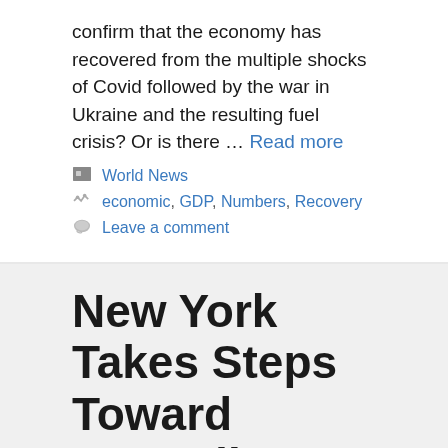confirm that the economy has recovered from the multiple shocks of Covid followed by the war in Ukraine and the resulting fuel crisis? Or is there … Read more
World News
economic, GDP, Numbers, Recovery
Leave a comment
New York Takes Steps Toward Amending Cyber Regulations